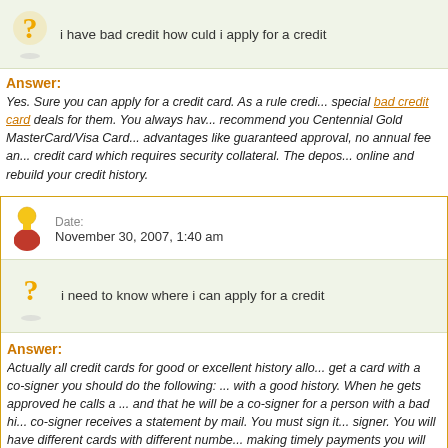i have bad credit how culd i apply for a credit card
Answer:
Yes. Sure you can apply for a credit card. As a rule credit card companies have special bad credit card deals for them. You always have... recommend you Centennial Gold MasterCard/Visa Card... advantages like guaranteed approval, no annual fee and... credit card which requires security collateral. The deposit... online and rebuild your credit history.
Date: November 30, 2007, 1:40 am
i need to know where i can apply for a credit card
Answer:
Actually all credit cards for good or excellent history allo... get a card with a co-signer you should do the following: ... with a good history. When he gets approved he calls a ... and that he will be a co-signer for a person with a bad hi... co-signer receives a statement by mail. You must sign it... signer. You will have different cards with different numbe... making timely payments you will be building your own cre...
Date: January 31, 2008, 7:01 am